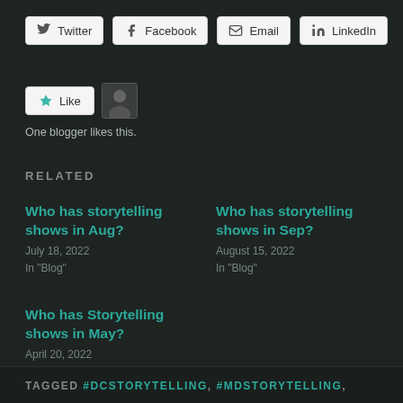[Figure (screenshot): Row of social share buttons: Twitter, Facebook, Email, LinkedIn]
[Figure (screenshot): Like button with star icon and avatar thumbnail]
One blogger likes this.
RELATED
Who has storytelling shows in Aug?
July 18, 2022
In "Blog"
Who has storytelling shows in Sep?
August 15, 2022
In "Blog"
Who has Storytelling shows in May?
April 20, 2022
In "Blog"
TAGGED #DCSTORYTELLING, #MDSTORYTELLING,